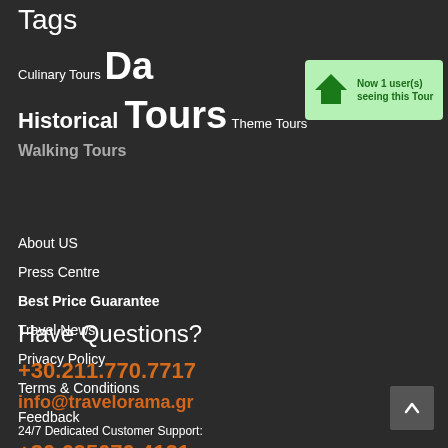Tags
Culinary Tours Day Trips Historical Tours Theme Tours Walking Tours
[Figure (infographic): Green notification banner with a house icon and text: Now 1 user(s) seeing this Tour]
About US
Press Centre
Best Price Guarantee
Travel News
Privacy Policy
Terms & Conditions
Feedback
Have Questions?
+30.211.770.7717
info@travelorama.gr
24/7 Dedicated Customer Support:
+30.695070.4121